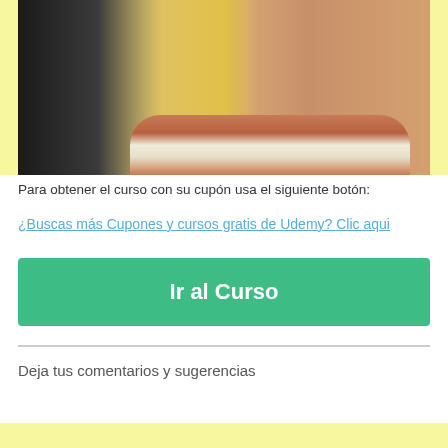[Figure (photo): Close-up photo of a person with blonde hair smiling, showing teeth. Black background on left side.]
Para obtener el curso con su cupón usa el siguiente botón:
¿Buscas más Cupones y cursos gratis de Udemy? Clic aqui
Ir al Curso
Deja tus comentarios y sugerencias